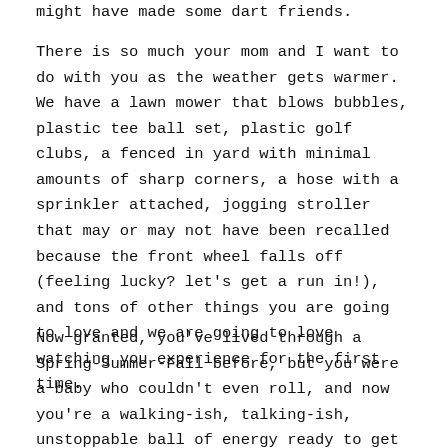might have made some dart friends.
There is so much your mom and I want to do with you as the weather gets warmer. We have a lawn mower that blows bubbles, plastic tee ball set, plastic golf clubs, a fenced in yard with minimal amounts of sharp corners, a hose with a sprinkler attached, jogging stroller that may or may not have been recalled because the front wheel falls off (feeling lucky? let's get a run in!), and tons of other things you are going to love and we are going to love watching you experience for the first time.
Now granted, you've lived through a Spring-Summer-Fall before, but you were a baby who couldn't even roll, and now you're a walking-ish, talking-ish, unstoppable ball of energy ready to get